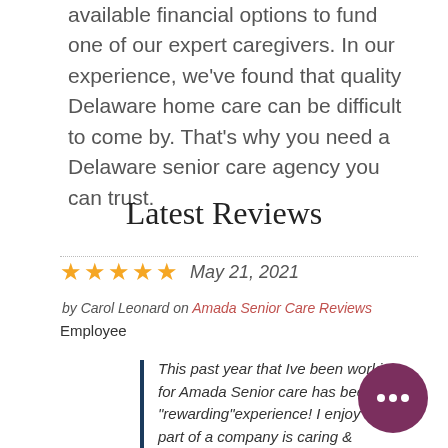available financial options to fund one of our expert caregivers. In our experience, we've found that quality Delaware home care can be difficult to come by. That's why you need a Delaware senior care agency you can trust.
Latest Reviews
★★★★★  May 21, 2021
by Carol Leonard on Amada Senior Care Reviews
Employee
This past year that Ive been working for Amada Senior care has been a "rewarding"experience! I enjoy being a part of a company is caring & supportive of its employees as much as the clients..... especially during the Pandemic which